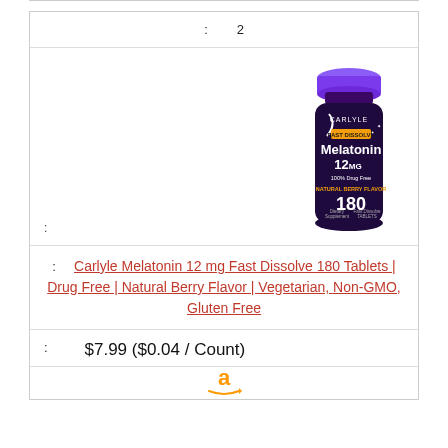: 2
[Figure (photo): Carlyle Melatonin 12mg Fast Dissolve 180 Tablets bottle with purple cap and dark label]
:
: Carlyle Melatonin 12 mg Fast Dissolve 180 Tablets | Drug Free | Natural Berry Flavor | Vegetarian, Non-GMO, Gluten Free
: $7.99 ($0.04 / Count)
[Figure (logo): Amazon logo partial]